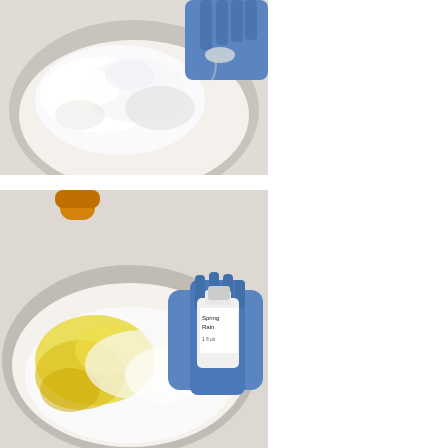[Figure (photo): Top-down view of a white mixing bowl containing white powder (salt or similar ingredient), with a blue-gloved hand visible at the top right corner]
[Figure (photo): Top-down view of a white mixing bowl containing white salt and yellow oil, with a blue-gloved hand holding a small bottle labeled 'Spring Rain' fragrance oil over the bowl]
Pink Salt B
Now, you a could weigh ingredients ingredients rice bran oil